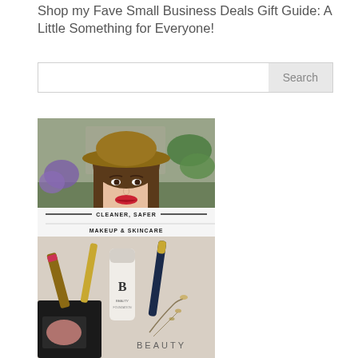Shop my Fave Small Business Deals Gift Guide: A Little Something for Everyone!
Search
[Figure (photo): Young Asian woman smiling, wearing a wide-brim brown hat and red lipstick, outdoors with purple flowers and greenery in the background. Below her photo is a banner that reads CLEANER, SAFER MAKEUP & SKINCARE.]
[Figure (photo): Flat lay of clean beauty makeup products including lip gloss, mascara, a foundation tube with a 'B' logo, an eyeliner, and a blush compact, with dried botanicals. Text overlay reads BEAUTY.]